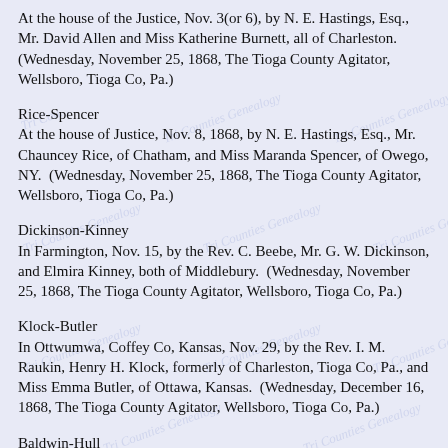At the house of the Justice, Nov. 3(or 6), by N. E. Hastings, Esq., Mr. David Allen and Miss Katherine Burnett, all of Charleston. (Wednesday, November 25, 1868, The Tioga County Agitator, Wellsboro, Tioga Co, Pa.)
Rice-Spencer
At the house of Justice, Nov. 8, 1868, by N. E. Hastings, Esq., Mr. Chauncey Rice, of Chatham, and Miss Maranda Spencer, of Owego, NY.  (Wednesday, November 25, 1868, The Tioga County Agitator, Wellsboro, Tioga Co, Pa.)
Dickinson-Kinney
In Farmington, Nov. 15, by the Rev. C. Beebe, Mr. G. W. Dickinson, and Elmira Kinney, both of Middlebury.  (Wednesday, November 25, 1868, The Tioga County Agitator, Wellsboro, Tioga Co, Pa.)
Klock-Butler
In Ottwumwa, Coffey Co, Kansas, Nov. 29, by the Rev. I. M. Raukin, Henry H. Klock, formerly of Charleston, Tioga Co, Pa., and Miss Emma Butler, of Ottawa, Kansas.  (Wednesday, December 16, 1868, The Tioga County Agitator, Wellsboro, Tioga Co, Pa.)
Baldwin-Hull
In Corning, NY, Dec. 1, 1868, by the Rev. John B. Littleton, of NY,